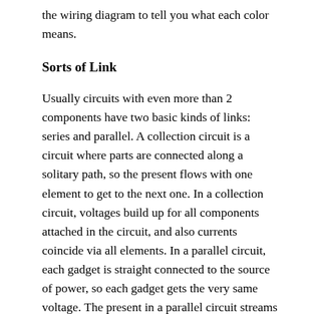the wiring diagram to tell you what each color means.
Sorts of Link
Usually circuits with even more than 2 components have two basic kinds of links: series and parallel. A collection circuit is a circuit where parts are connected along a solitary path, so the present flows with one element to get to the next one. In a collection circuit, voltages build up for all components attached in the circuit, and also currents coincide via all elements. In a parallel circuit, each gadget is straight connected to the source of power, so each gadget gets the very same voltage. The present in a parallel circuit streams along each parallel branch as well as re-combines when the branches meet once more.